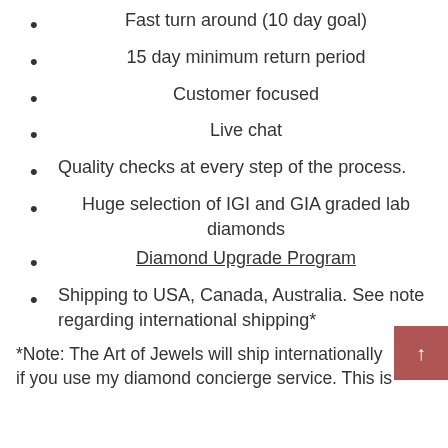Fast turn around (10 day goal)
15 day minimum return period
Customer focused
Live chat
Quality checks at every step of the process.
Huge selection of IGI and GIA graded lab diamonds
Diamond Upgrade Program
Shipping to USA, Canada, Australia. See note regarding international shipping*
*Note: The Art of Jewels will ship internationally if you use my diamond concierge service. This is